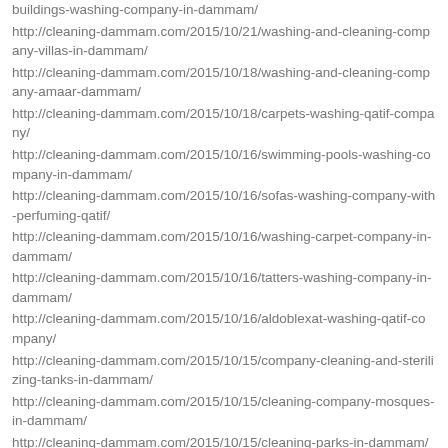buildings-washing-company-in-dammam/
http://cleaning-dammam.com/2015/10/21/washing-and-cleaning-company-villas-in-dammam/
http://cleaning-dammam.com/2015/10/18/washing-and-cleaning-company-amaar-dammam/
http://cleaning-dammam.com/2015/10/18/carpets-washing-qatif-company/
http://cleaning-dammam.com/2015/10/16/swimming-pools-washing-company-in-dammam/
http://cleaning-dammam.com/2015/10/16/sofas-washing-company-with-perfuming-qatif/
http://cleaning-dammam.com/2015/10/16/washing-carpet-company-in-dammam/
http://cleaning-dammam.com/2015/10/16/tatters-washing-company-in-dammam/
http://cleaning-dammam.com/2015/10/16/aldoblexat-washing-qatif-company/
http://cleaning-dammam.com/2015/10/15/company-cleaning-and-sterilizing-tanks-in-dammam/
http://cleaning-dammam.com/2015/10/15/cleaning-company-mosques-in-dammam/
http://cleaning-dammam.com/2015/10/15/cleaning-parks-in-dammam/